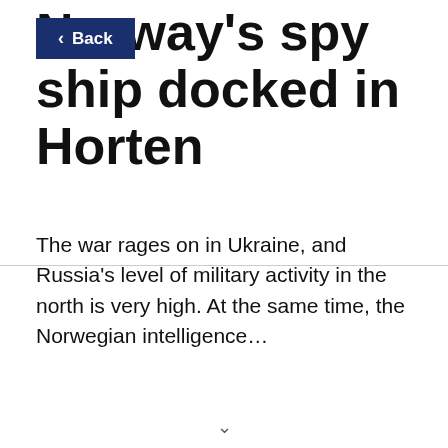Norway's spy ship docked in Horten
The war rages on in Ukraine, and Russia's level of military activity in the north is very high. At the same time, the Norwegian intelligence…